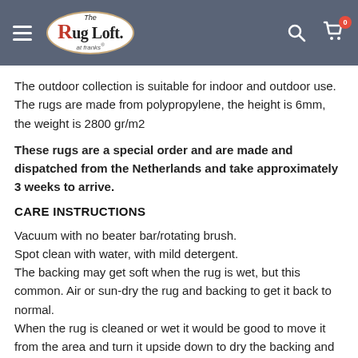The Rug Loft at franks
The outdoor collection is suitable for indoor and outdoor use. The rugs are made from polypropylene, the height is 6mm, the weight is 2800 gr/m2
These rugs are a special order and are made and dispatched from the Netherlands and take approximately 3 weeks to arrive.
CARE INSTRUCTIONS
Vacuum with no beater bar/rotating brush.
Spot clean with water, with mild detergent.
The backing may get soft when the rug is wet, but this common. Air or sun-dry the rug and backing to get it back to normal.
When the rug is cleaned or wet it would be good to move it from the area and turn it upside down to dry the backing and the surface underneath as the water would go through the rug.